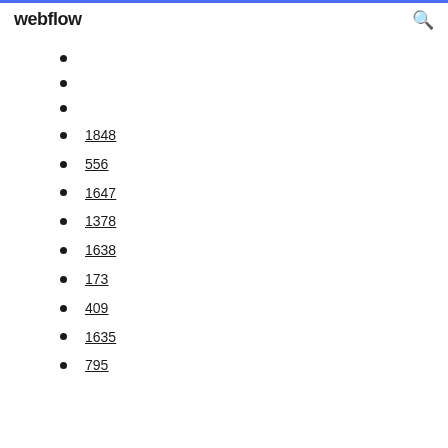webflow
1848
556
1647
1378
1638
173
409
1635
795